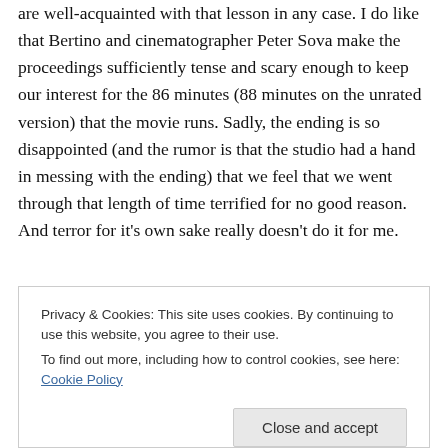are well-acquainted with that lesson in any case. I do like that Bertino and cinematographer Peter Sova make the proceedings sufficiently tense and scary enough to keep our interest for the 86 minutes (88 minutes on the unrated version) that the movie runs. Sadly, the ending is so disappointed (and the rumor is that the studio had a hand in messing with the ending) that we feel that we went through that length of time terrified for no good reason. And terror for it's own sake really doesn't do it for me.
WHY RENT THIS: The tension is well-established. Tyler does as good a job as any.
Privacy & Cookies: This site uses cookies. By continuing to use this website, you agree to their use.
To find out more, including how to control cookies, see here: Cookie Policy